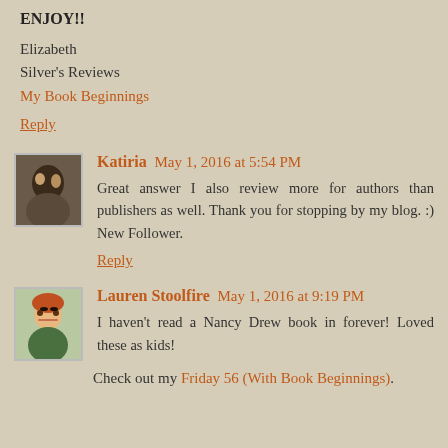ENJOY!!
Elizabeth
Silver's Reviews
My Book Beginnings
Reply
Katiria  May 1, 2016 at 5:54 PM
Great answer I also review more for authors than publishers as well. Thank you for stopping by my blog. :) New Follower.
Reply
Lauren Stoolfire  May 1, 2016 at 9:19 PM
I haven't read a Nancy Drew book in forever! Loved these as kids!
Check out my Friday 56 (With Book Beginnings).